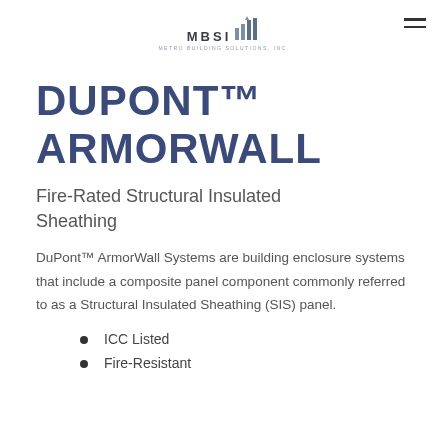MBSI Metro Building Solutions, Inc. [logo with hamburger menu]
DUPONT™ ARMORWALL
Fire-Rated Structural Insulated Sheathing
DuPont™ ArmorWall Systems are building enclosure systems that include a composite panel component commonly referred to as a Structural Insulated Sheathing (SIS) panel.
ICC Listed
Fire-Resistant